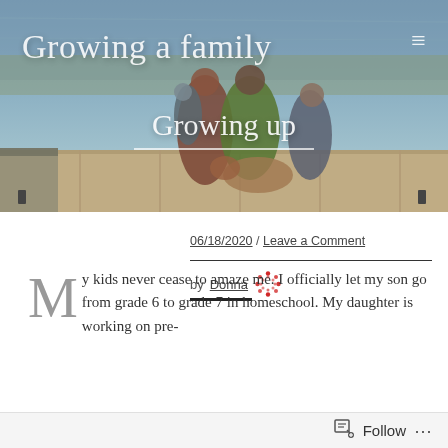[Figure (photo): A family of four with a dog sitting on a wooden dock by a lake. Two adults and two children, one adult holding a small child. Blog header image for 'Growing a family'.]
Growing a family
Growing up
06/18/2020 / Leave a Comment
by Donna
My kids never cease to amaze me. I officially let my son go from grade 6 to grade 7 in homeschool. My daughter is working on pre-